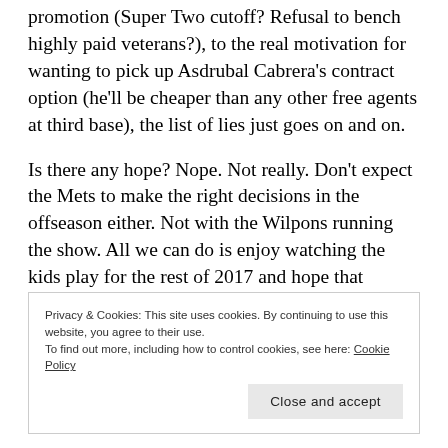promotion (Super Two cutoff? Refusal to bench highly paid veterans?), to the real motivation for wanting to pick up Asdrubal Cabrera's contract option (he'll be cheaper than any other free agents at third base), the list of lies just goes on and on.
Is there any hope? Nope. Not really. Don't expect the Mets to make the right decisions in the offseason either. Not with the Wilpons running the show. All we can do is enjoy watching the kids play for the rest of 2017 and hope that somehow the young pitchers magically heal
Privacy & Cookies: This site uses cookies. By continuing to use this website, you agree to their use.
To find out more, including how to control cookies, see here: Cookie Policy